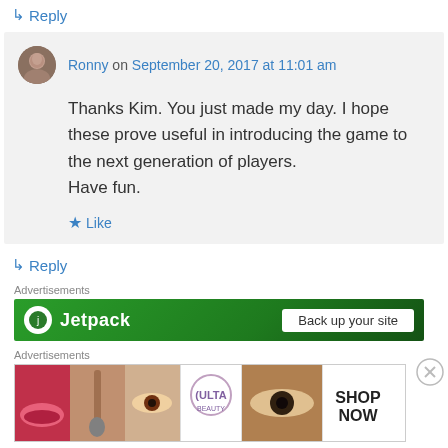↳ Reply
Ronny on September 20, 2017 at 11:01 am
Thanks Kim. You just made my day. I hope these prove useful in introducing the game to the next generation of players.
Have fun.
★ Like
↳ Reply
Advertisements
[Figure (screenshot): Jetpack advertisement banner with green background and 'Back up your site' button]
Advertisements
[Figure (photo): ULTA beauty advertisement with makeup images and SHOP NOW button]